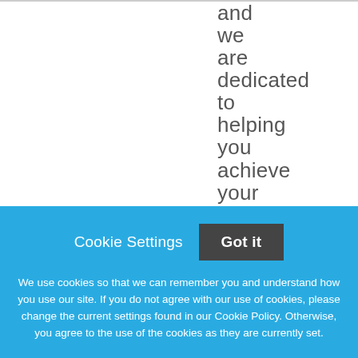and we are dedicated to helping you achieve your personal and
Cookie Settings
Got it
We use cookies so that we can remember you and understand how you use our site. If you do not agree with our use of cookies, please change the current settings found in our Cookie Policy. Otherwise, you agree to the use of the cookies as they are currently set.